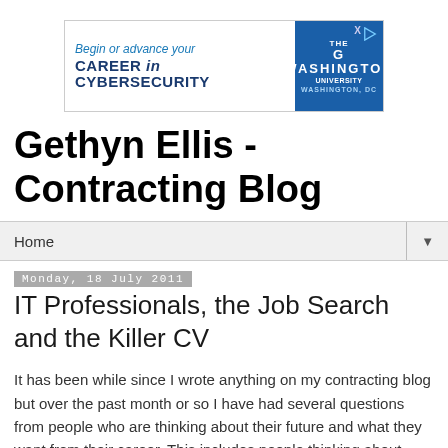[Figure (infographic): Advertisement banner for The George Washington University: 'Begin or advance your CAREER in CYBERSECURITY', Washington, DC]
Gethyn Ellis - Contracting Blog
Home
Monday, 18 July 2011
IT Professionals, the Job Search and the Killer CV
It has been while since I wrote anything on my contracting blog but over the past month or so I have had several questions from people who are thinking about their future and what they want from their career. This includes people thinking about both permanent and contract work.